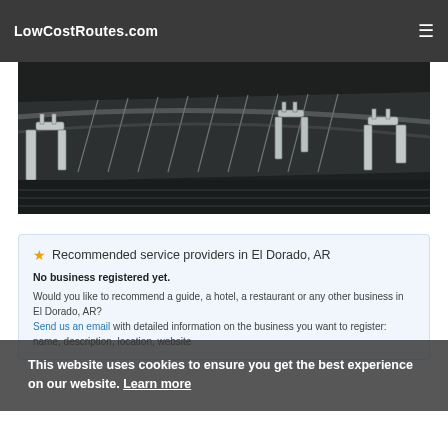LowCostRoutes.com
[Figure (photo): Aerial view of airport runways and jetways/bridges, dark tarmac with white markings and structural bridge arms visible from above]
★ Recommended service providers in El Dorado, AR
No business registered yet.
Would you like to recommend a guide, a hotel, a restaurant or any other business in El Dorado, AR?
Send us an email with detailed information on the business you want to register: name, description, location, website
This website uses cookies to ensure you get the best experience on our website. Learn more